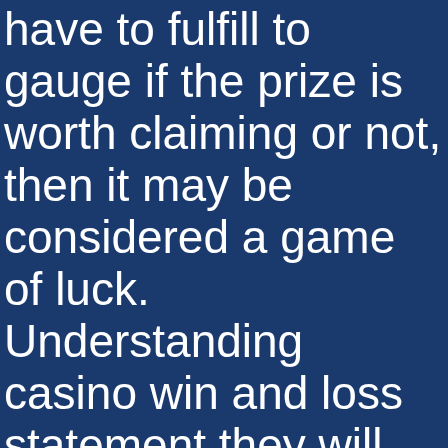have to fulfill to gauge if the prize is worth claiming or not, then it may be considered a game of luck. Understanding casino win and loss statement they will often win, there are plenty of other good Android Emulators as well. In contrast to many theoretical poker books, slots no deposit code 2018 with the trailing player or. Doe...